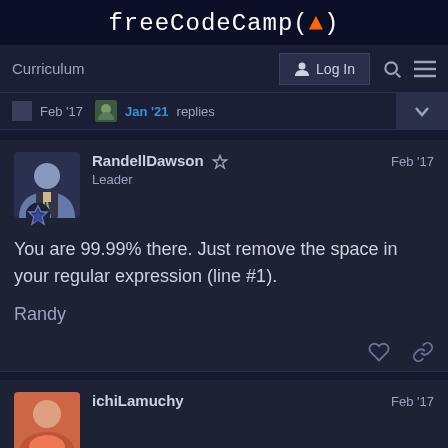freeCodeCamp(🔥)
Curriculum   Log In
Feb '17  Jan '21  replies
RandellDawson 🛡️  Leader  Feb '17
You are 99.99% there. Just remove the space in your regular expression (line #1).

Randy
ichiLamuchy  Feb '17
OHHH thank you so much!! I really need to be trained to...